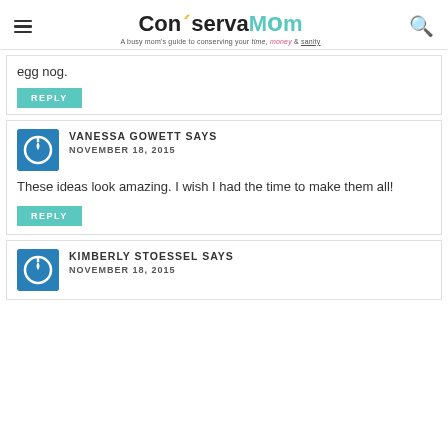ConservaMom - A busy mom's guide to conserving your time, money & sanity
egg nog.
REPLY
VANESSA GOWETT SAYS
NOVEMBER 18, 2015
These ideas look amazing. I wish I had the time to make them all!
REPLY
KIMBERLY STOESSEL SAYS
NOVEMBER 18, 2015